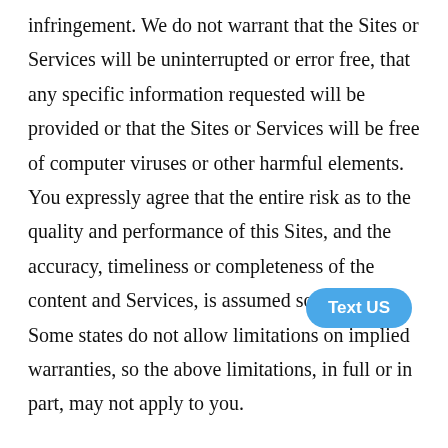infringement. We do not warrant that the Sites or Services will be uninterrupted or error free, that any specific information requested will be provided or that the Sites or Services will be free of computer viruses or other harmful elements. You expressly agree that the entire risk as to the quality and performance of this Sites, and the accuracy, timeliness or completeness of the content and Services, is assumed solely by you. Some states do not allow limitations on implied warranties, so the above limitations, in full or in part, may not apply to you.

Your use of or access to the Sites or Services may be
[Figure (other): A blue rounded button labeled 'Text US']